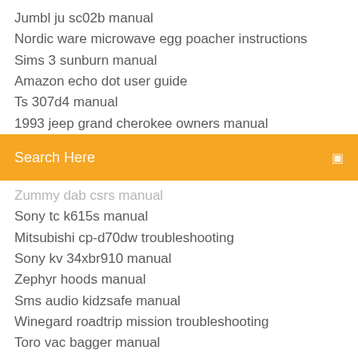Jumbl ju sc02b manual
Nordic ware microwave egg poacher instructions
Sims 3 sunburn manual
Amazon echo dot user guide
Ts 307d4 manual
1993 jeep grand cherokee owners manual
[Figure (screenshot): Orange search bar with text 'Search Here' and a search icon on the right]
Zummy dab csrs manual
Sony tc k615s manual
Mitsubishi cp-d70dw troubleshooting
Sony kv 34xbr910 manual
Zephyr hoods manual
Sms audio kidzsafe manual
Winegard roadtrip mission troubleshooting
Toro vac bagger manual
Arris modem tg1672 manual
Garmin astro 220 troubleshooting
Samsung rfg238aars parts manual